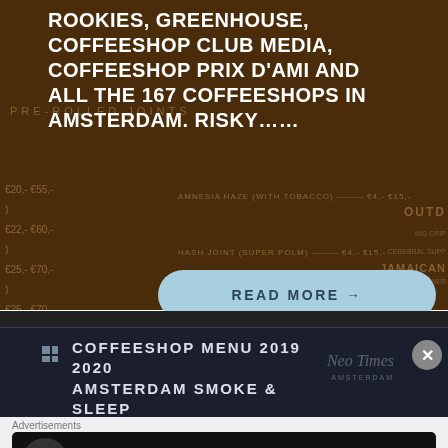[Figure (photo): Dark brown background showing a coffeeshop menu board with price listings for pre-rolled joints, edibles (brownies, rice krispies cake), and cannabis strains. Prices shown in euros. Overlaid with white text heading.]
ROOKIES, GREENHOUSE, COFFEESHOP CLUB MEDIA, COFFEESHOP PRIX D'AMI AND ALL THE 167 COFFEESHOPS IN AMSTERDAM. Risky......
READ MORE →
[Figure (screenshot): Dark navy card with small grid icon, showing text: COFFEESHOP MENU 2019 2020 AMSTERDAM SMOKE & SLEEP. Neo Times Amsterdam watermark visible. Close button (X) in circle on right.]
COFFEESHOP MENU 2019 2020
AMSTERDAM SMOKE & SLEEP
Advertisements
[Figure (infographic): Black advertisement banner with circle icon showing upload/course symbol. Text: Launch your online course with WordPress. Button: Learn More.]